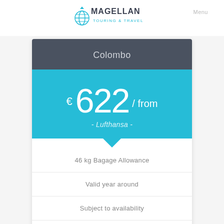[Figure (logo): Magellan Touring & Travel logo with globe icon]
Menu
Colombo
€ 622 / from
- Lufthansa -
46 kg Bagage Allowance
Valid year around
Subject to availability
Incl. Airport Taxes
Travel from Austria